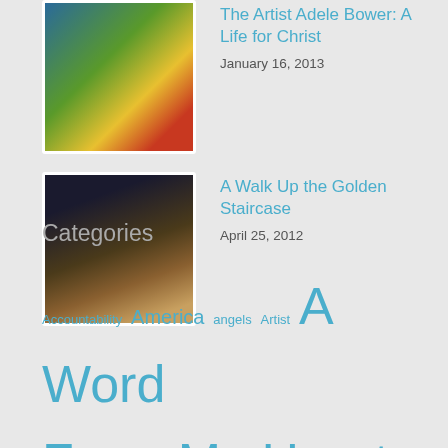[Figure (photo): Thumbnail image of artist painting outdoors with colorful background]
The Artist Adele Bower: A Life for Christ
January 16, 2013
[Figure (photo): Thumbnail image of a golden staircase doorway with warm lights]
A Walk Up the Golden Staircase
April 25, 2012
Categories
Accountability America angels Artist A Word From My Heart beauty cats Children Christian Christmas Dreams Easter Faith Family Family Recipes Father Featured Friend Gift God Happiness horses